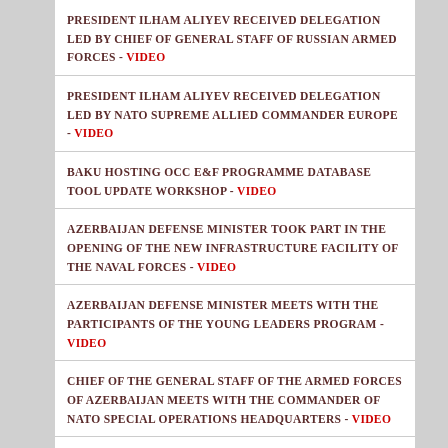PRESIDENT ILHAM ALIYEV RECEIVED DELEGATION LED BY CHIEF OF GENERAL STAFF OF RUSSIAN ARMED FORCES - VIDEO
PRESIDENT ILHAM ALIYEV RECEIVED DELEGATION LED BY NATO SUPREME ALLIED COMMANDER EUROPE - VIDEO
BAKU HOSTING OCC E&F PROGRAMME DATABASE TOOL UPDATE WORKSHOP - VIDEO
AZERBAIJAN DEFENSE MINISTER TOOK PART IN THE OPENING OF THE NEW INFRASTRUCTURE FACILITY OF THE NAVAL FORCES - VIDEO
AZERBAIJAN DEFENSE MINISTER MEETS WITH THE PARTICIPANTS OF THE YOUNG LEADERS PROGRAM - VIDEO
CHIEF OF THE GENERAL STAFF OF THE ARMED FORCES OF AZERBAIJAN MEETS WITH THE COMMANDER OF NATO SPECIAL OPERATIONS HEADQUARTERS - VIDEO
GROUP OF AZERBAIJANI PEACEKEEPERS RETURNED FROM AFGHANISTAN - VIDEO